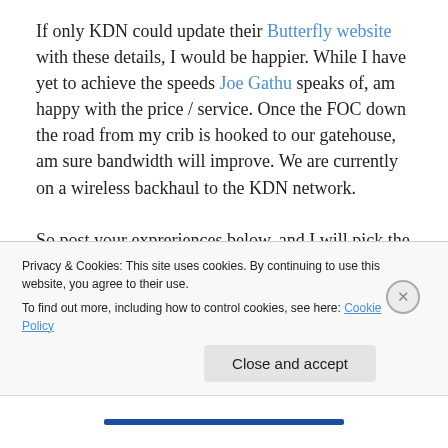If only KDN could update their Butterfly website with these details, I would be happier. While I have yet to achieve the speeds Joe Gathu speaks of, am happy with the price / service. Once the FOC down the road from my crib is hooked to our gatehouse, am sure bandwidth will improve. We are currently on a wireless backhaul to the KDN network.

So post your expreriences below, and I will pick the items and update this post categorized by provider. Also feel free to...
Privacy & Cookies: This site uses cookies. By continuing to use this website, you agree to their use.
To find out more, including how to control cookies, see here: Cookie Policy